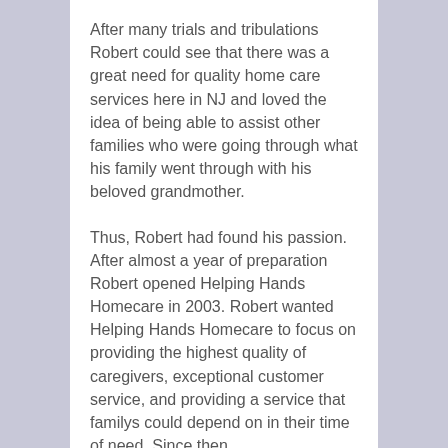After many trials and tribulations Robert could see that there was a great need for quality home care services here in NJ and loved the idea of being able to assist other families who were going through what his family went through with his beloved grandmother.
Thus, Robert had found his passion. After almost a year of preparation Robert opened Helping Hands Homecare in 2003. Robert wanted Helping Hands Homecare to focus on providing the highest quality of caregivers, exceptional customer service, and providing a service that familys could depend on in their time of need. Since then